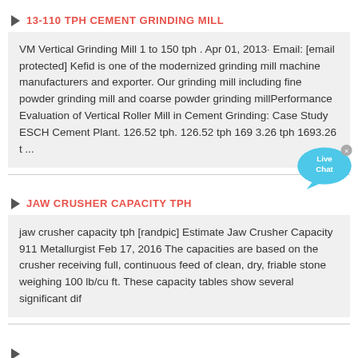13-110 TPH CEMENT GRINDING MILL
VM Vertical Grinding Mill 1 to 150 tph . Apr 01, 2013· Email: [email protected] Kefid is one of the modernized grinding mill machine manufacturers and exporter. Our grinding mill including fine powder grinding mill and coarse powder grinding millPerformance Evaluation of Vertical Roller Mill in Cement Grinding: Case Study ESCH Cement Plant. 126.52 tph. 126.52 tph 169 3.26 tph 1693.26 t ...
JAW CRUSHER CAPACITY TPH
jaw crusher capacity tph [randpic] Estimate Jaw Crusher Capacity 911 Metallurgist Feb 17, 2016 The capacities are based on the crusher receiving full, continuous feed of clean, dry, friable stone weighing 100 lb/cu ft. These capacity tables show several significant dif
CONCRETE MACHINE BREAKER MACHINE IN SOUTH AFRICA MINING